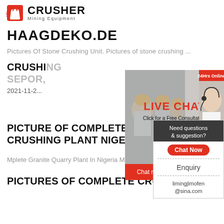CRUSHER Mining Equipment
HAAGDEKO.DE
Pictures Of Stone Crushing Unit. Pictures of stone crushing ...
CRUSHING SEPOR,
2021-11-2...
[Figure (other): Live Chat popup overlay with workers in hard hats, LIVE CHAT text, Click for a Free Consultation, Chat now and Chat later buttons, 24Hrs Online banner]
PICTURE OF COMPLETE OF QUARRY CRUSHING PLANT NIGERIA CH...
Mplete Granite Quarry Plant In Nigeria Michali...
[Figure (other): Right sidebar with Need questions & suggestion? Chat Now button, Enquiry link, limingjlmofen@sina.com email]
PICTURES OF COMPLETE CRUSHING...